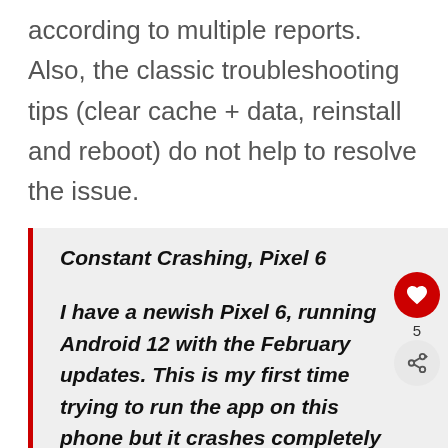according to multiple reports. Also, the classic troubleshooting tips (clear cache + data, reinstall and reboot) do not help to resolve the issue.
Constant Crashing, Pixel 6
I have a newish Pixel 6, running Android 12 with the February updates. This is my first time trying to run the app on this phone but it crashes completely before reaching the main screen.